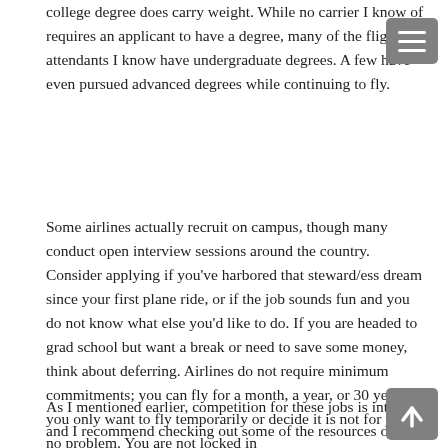college degree does carry weight. While no carrier I know of requires an applicant to have a degree, many of the flight attendants I know have undergraduate degrees. A few have even pursued advanced degrees while continuing to fly.
Some airlines actually recruit on campus, though many conduct open interview sessions around the country. Consider applying if you've harbored that steward/ess dream since your first plane ride, or if the job sounds fun and you do not know what else you'd like to do. If you are headed to grad school but want a break or need to save some money, think about deferring. Airlines do not require minimum commitments; you can fly for a month, a year, or 30 years. If you only want to fly temporarily or decide it is not for you, no problem. You are not locked in
As I mentioned earlier, competition for these jobs is intense, and I recommend checking out some of the resources on the